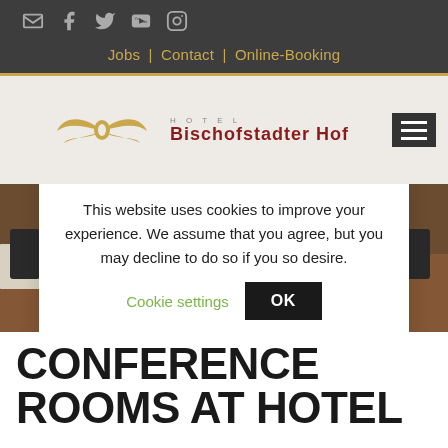Social icons: email, facebook, twitter, youtube, instagram
Jobs | Contact | Online-Booking
[Figure (screenshot): Hotel hero area with ornamental logo (golden decorative emblem) and partial hotel name text, with hamburger menu icon on right]
[Figure (photo): Conference room photo showing long tables with dark chairs, papers and bottles, patterned carpet floor]
This website uses cookies to improve your experience. We assume that you agree, but you may decline to do so if you so desire. Cookie settings OK
CONFERENCE ROOMS AT HOTEL